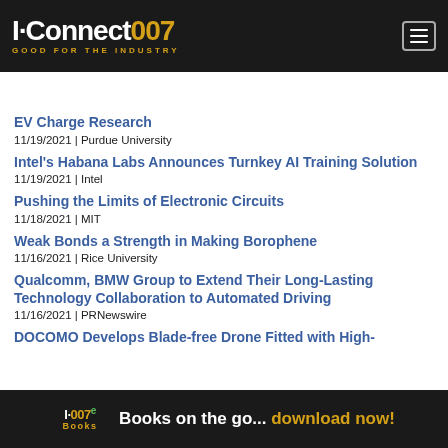I-Connect007 | GOOD FOR THE INDUSTRY
EV Charge Research
11/19/2021 | Purdue University
Intel's Habana Labs Announces Turnkey AI Training Solution
11/19/2021 | Intel
Pushing the Limits of Electronic Circuits
11/18/2021 | MIT
Weak Bonds a Strength in Making Borophene
11/16/2021 | Rice University
Qualcomm, BMW Group to Extend Their Long-Lasting Technology Collaboration to Automated Driving
11/16/2021 | PRNewswire
DOCOMO Develops Blade-free Drone Fitted with High-
I-007e Books | Books on the go... download now!